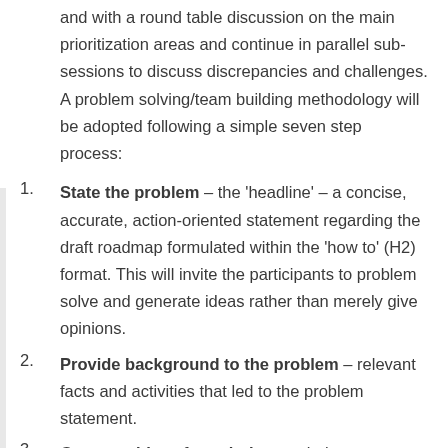and with a round table discussion on the main prioritization areas and continue in parallel sub-sessions to discuss discrepancies and challenges. A problem solving/team building methodology will be adopted following a simple seven step process:
State the problem – the 'headline' – a concise, accurate, action-oriented statement regarding the draft roadmap formulated within the 'how to' (H2) format. This will invite the participants to problem solve and generate ideas rather than merely give opinions.
Provide background to the problem – relevant facts and activities that led to the problem statement.
Generate ideas for solutions – during